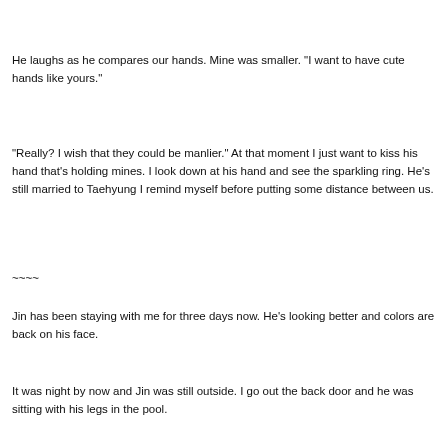He laughs as he compares our hands. Mine was smaller. "I want to have cute hands like yours."
"Really? I wish that they could be manlier." At that moment I just want to kiss his hand that's holding mines. I look down at his hand and see the sparkling ring. He's still married to Taehyung I remind myself before putting some distance between us.
~~~~
Jin has been staying with me for three days now. He's looking better and colors are back on his face.
It was night by now and Jin was still outside. I go out the back door and he was sitting with his legs in the pool.